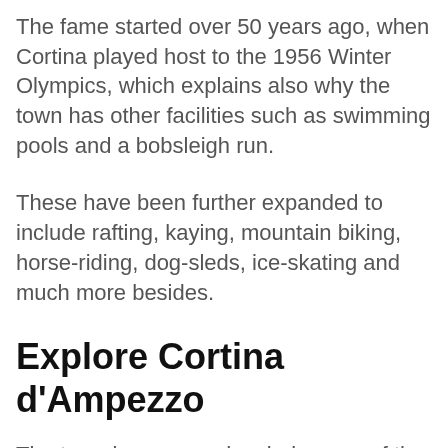The fame started over 50 years ago, when Cortina played host to the 1956 Winter Olympics, which explains also why the town has other facilities such as swimming pools and a bobsleigh run.
These have been further expanded to include rafting, kaying, mountain biking, horse-riding, dog-sleds, ice-skating and much more besides.
Explore Cortina d'Ampezzo
The town is renowned as being one of the best - and perhaps the very best - of the skiing resorts in the dolomites if not Italy. Set in fabulous, dramatic scenery surrounded by mountains it